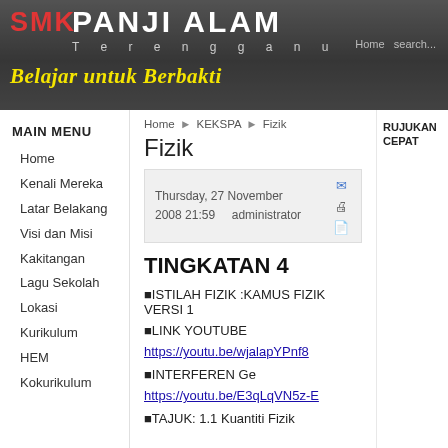[Figure (photo): SMK Panji Alam school website banner with school name, Terengganu subtitle, and motto 'Belajar untuk Berbakti' in yellow italic text over a dark background with school building photo.]
MAIN MENU
Home
Kenali Mereka
Latar Belakang
Visi dan Misi
Kakitangan
Lagu Sekolah
Lokasi
Kurikulum
HEM
Kokurikulum
Home ▶ KEKSPA ▶ Fizik
Fizik
Thursday, 27 November 2008 21:59   administrator
TINGKATAN 4
⬛ISTILAH FIZIK :KAMUS FIZIK VERSI 1
⬛LINK YOUTUBE
https://youtu.be/wjalapYPnf8
⬛INTERFEREN Ge
https://youtu.be/E3qLqVN5z-E
⬛TAJUK: 1.1 Kuantiti Fizik
RUJUKAN CEPAT